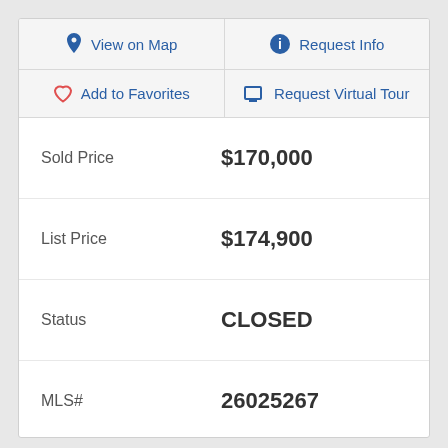| 📍 View on Map | ℹ️ Request Info |
| ♡ Add to Favorites | 🖥 Request Virtual Tour |
| Sold Price | $170,000 |
| List Price | $174,900 |
| Status | CLOSED |
| MLS# | 26025267 |
| Bedrooms | 3 |
| Bathrooms | 2 |
| Full Baths | 2 |